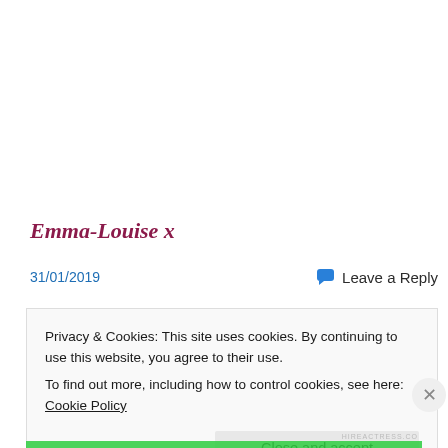Emma-Louise x
31/01/2019
Leave a Reply
Privacy & Cookies: This site uses cookies. By continuing to use this website, you agree to their use.
To find out more, including how to control cookies, see here: Cookie Policy
Close and accept